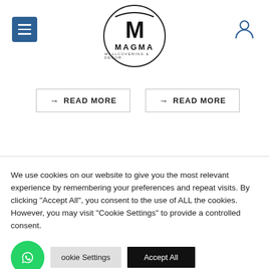[Figure (logo): Magma Wallcovering & Decor logo in a circle with large M letter]
→ READ MORE
→ READ MORE
We use cookies on our website to give you the most relevant experience by remembering your preferences and repeat visits. By clicking "Accept All", you consent to the use of ALL the cookies. However, you may visit "Cookie Settings" to provide a controlled consent.
Cookie Settings
Accept All